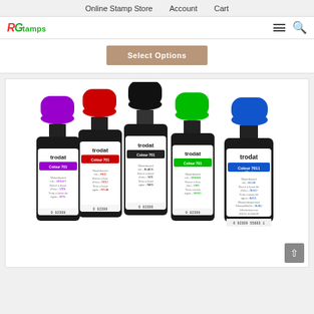Online Stamp Store    Account    Cart
[Figure (logo): RGStamps logo with R in red italic, G in green, stamps in green text]
Select Options
[Figure (photo): Five Trodat stamp ink bottles in violet, red, black, green, and blue colors. Each bottle is labeled 'Colour 7011 28 ml' with multilingual text for waterbased ink.]